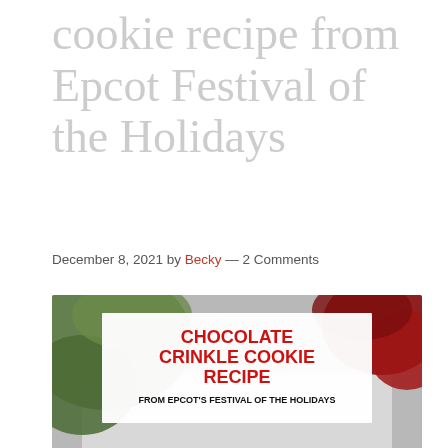cookie recipe from Epcot Festival of the Holidays
December 8, 2021 by Becky — 2 Comments
[Figure (photo): Chocolate crinkle cookies dusted with powdered sugar on a white plate, surrounded by green foliage and red accents. Text overlay reads: CHOCOLATE CRINKLE COOKIE RECIPE FROM EPCOT'S FESTIVAL OF THE HOLIDAYS. Bottom bar with watermark and close button.]